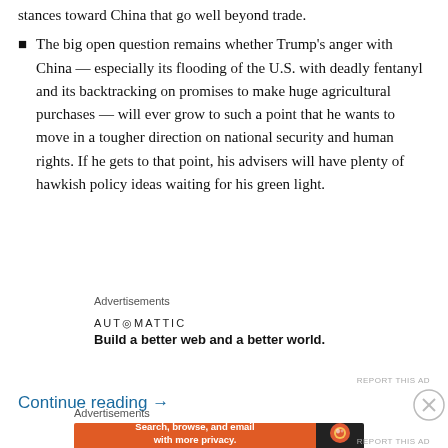stances toward China that go well beyond trade.
The big open question remains whether Trump's anger with China — especially its flooding of the U.S. with deadly fentanyl and its backtracking on promises to make huge agricultural purchases — will ever grow to such a point that he wants to move in a tougher direction on national security and human rights. If he gets to that point, his advisers will have plenty of hawkish policy ideas waiting for his green light.
Advertisements
[Figure (other): Automattic advertisement: AUTOMATTIC logo with tagline 'Build a better web and a better world.']
REPORT THIS AD
Continue reading →
Advertisements
[Figure (other): DuckDuckGo advertisement: 'Search, browse, and email with more privacy. All in One Free App' with DuckDuckGo logo on dark background.]
REPORT THIS AD